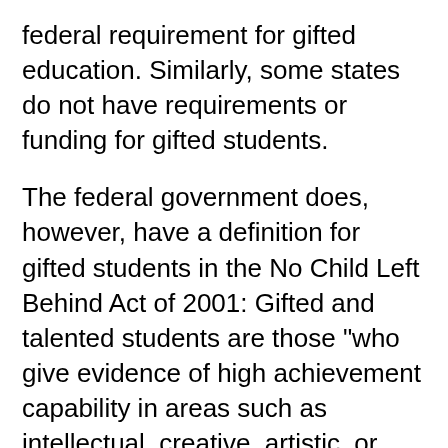federal requirement for gifted education. Similarly, some states do not have requirements or funding for gifted students.
The federal government does, however, have a definition for gifted students in the No Child Left Behind Act of 2001: Gifted and talented students are those "who give evidence of high achievement capability in areas such as intellectual, creative, artistic, or leadership capacity, or in specific academic fields, and who need services or activities not ordinarily provided by the school in order to fully develop those capabilities." Many states have based their own definitions of gifted students on that federal description.
Programs go by many different names, including gifted